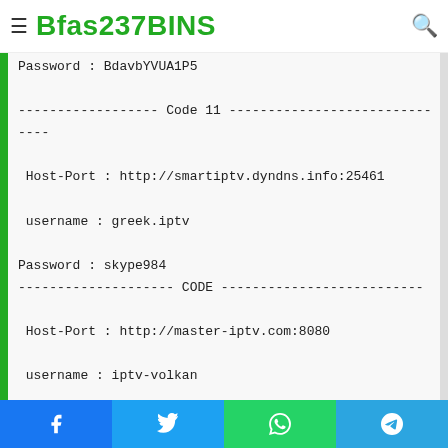Bfas237BINS
Password : BdavbYVUA1P5
------------------ Code 11 --------------------------
----
Host-Port : http://smartiptv.dyndns.info:25461
username : greek.iptv
Password : skype984
-------------------- CODE --------------------------
Host-Port : http://master-iptv.com:8080
username : iptv-volkan
Facebook | Twitter | WhatsApp | Telegram